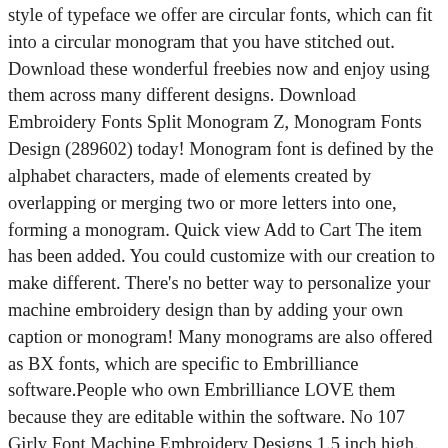style of typeface we offer are circular fonts, which can fit into a circular monogram that you have stitched out. Download these wonderful freebies now and enjoy using them across many different designs. Download Embroidery Fonts Split Monogram Z, Monogram Fonts Design (289602) today! Monogram font is defined by the alphabet characters, made of elements created by overlapping or merging two or more letters into one, forming a monogram. Quick view Add to Cart The item has been added. You could customize with our creation to make different. There's no better way to personalize your machine embroidery design than by adding your own caption or monogram! Many monograms are also offered as BX fonts, which are specific to Embrilliance software.People who own Embrilliance LOVE them because they are editable within the software. No 107 Girly Font Machine Embroidery Designs 1.5 inch high. My Sew Cute Boutique have optimized all of these designs, reducing the stitch count and reducing the stitch time. There you go! Font Pack #2 - Monograms This pack contains 4 fonts. Default Order; Name; ... Football Monogram 30mm Font $9.95 or 1 Font Credit. Our Monogram Embroidery Fonts are tried and tested and have been